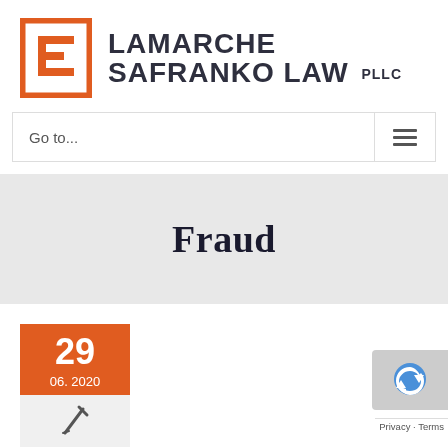[Figure (logo): LaMarche Safranko Law PLLC logo with orange geometric icon and dark gray firm name text]
Go to...
Fraud
29
06. 2020